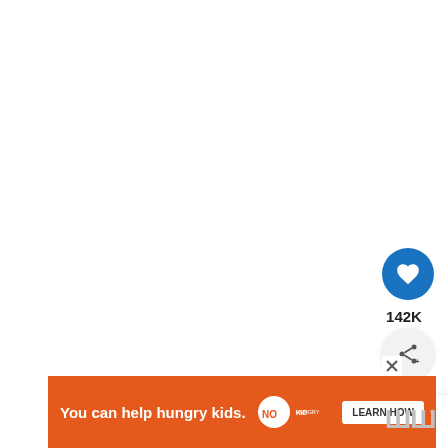[Figure (screenshot): Large white blank area (top portion of webpage)]
[Figure (infographic): Heart/like button (circular blue button with heart icon) showing 142K likes count]
[Figure (infographic): Share button (circular light grey button with share icon)]
[Figure (infographic): What's Next card showing broccoli thumbnail and text 'Instant Pot Broccoli...']
[Figure (infographic): Advertisement banner: 'You can help hungry kids.' with No Kid Hungry logo and LEARN HOW button, close X button, and Wellness double-W logo at bottom right]